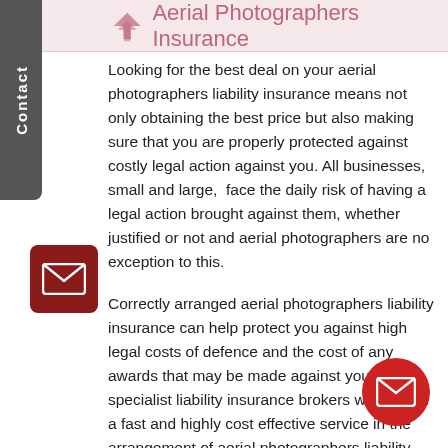Aerial Photographers Insurance
Looking for the best deal on your aerial photographers liability insurance means not only obtaining the best price but also making sure that you are properly protected against costly legal action against you. All businesses, small and large,  face the daily risk of having a legal action brought against them, whether justified or not and aerial photographers are no exception to this.
Correctly arranged aerial photographers liability insurance can help protect you against high legal costs of defence and the cost of any awards that may be made against you. As specialist liability insurance brokers we provide a fast and highly cost effective service in the arrangement of aerial photographers liability insurance providing you with a range of quotes from our leading insurers either immediately on-line or in consultation with our specialist liability brokers.